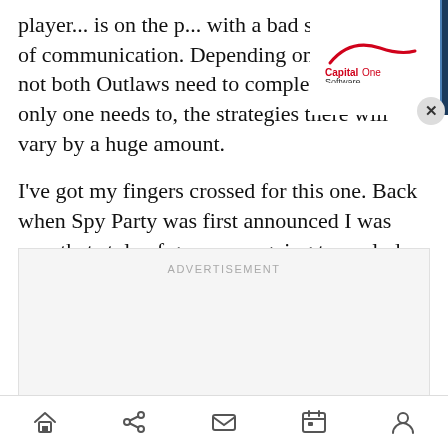player... is on the p... with a bad shot or a lack of communication. Depending on whether or not both Outlaws need to complete tasks, or if only one needs to, the strategies there will vary by a huge amount.
[Figure (screenshot): Capital One Slingshot advertisement banner overlay. Shows Capital One Software logo on the left (white background) and text 'Capital One Slingshot - Software to seamlessly manage your Snowflake cloud data costs.' on blue background. Has a close (X) button.]
I've got my fingers crossed for this one. Back when Spy Party was first announced I was sure that style of game was going to explode onto the scene. I'm calling it out: I was totally right. It just took a few more years than I thought.
ADVERTISEMENT